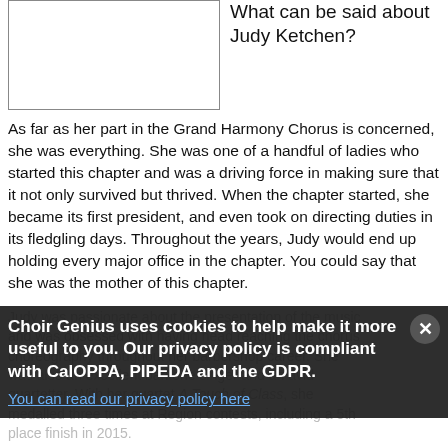[Figure (photo): Photo placeholder box for Judy Ketchen]
What can be said about Judy Ketchen?
As far as her part in the Grand Harmony Chorus is concerned, she was everything. She was one of a handful of ladies who started this chapter and was a driving force in making sure that it not only survived but thrived. When the chapter started, she became its first president, and even took on directing duties in its fledgling days. Throughout the years, Judy would end up holding every major office in the chapter. You could say that she was the mother of this chapter.
Judy was passionate about the presentation of the music and was obsessed with having head reaching the chorus choreography throughout her barbershop career. She was also an excellent baritone singer and an avid quartetter. With her quartet A Touch of Class, she medalled three times at Region contests, including a 5th place finish in 2015.
Choir Genius uses cookies to help make it more useful to you. Our privacy policy is compliant with CalOPPA, PIPEDA and the GDPR.
You can read our privacy policy here